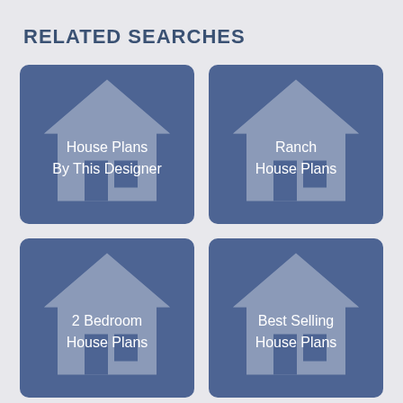RELATED SEARCHES
[Figure (infographic): Card with house icon background and text: House Plans By This Designer]
[Figure (infographic): Card with house icon background and text: Ranch House Plans]
[Figure (infographic): Card with house icon background and text: 2 Bedroom House Plans]
[Figure (infographic): Card with house icon background and text: Best Selling House Plans]